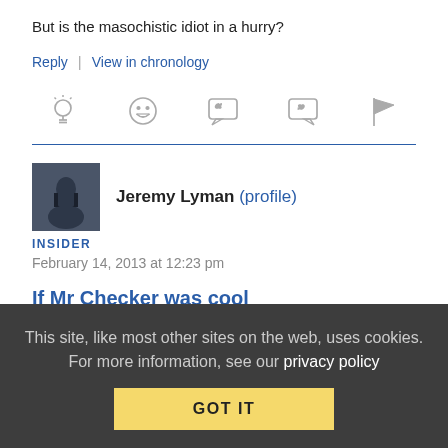But is the masochistic idiot in a hurry?
Reply | View in chronology
[Figure (infographic): Row of 5 reaction/action icons: lightbulb, laughing face, open-quote speech bubble, close-quote speech bubble, flag]
Jeremy Lyman (profile)
INSIDER
February 14, 2013 at 12:23 pm
If Mr Checker was cool
He would have endorsed the one with two thumbs up and seen a
This site, like most other sites on the web, uses cookies. For more information, see our privacy policy
GOT IT